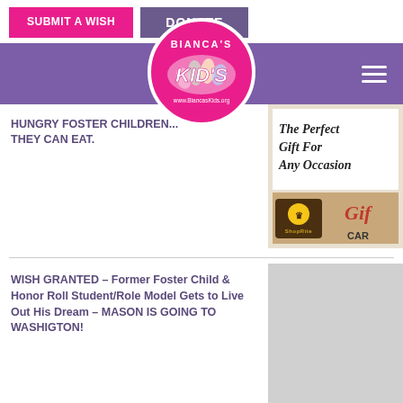[Figure (logo): Submit a Wish pink button and Donate purple button]
[Figure (logo): Bianca's Kids circular logo with pink background and URL www.BiancasKids.org]
HUNGRY FOSTER CHILDREN... THEY CAN EAT.
[Figure (photo): Gift card advertisement showing 'The Perfect Gift For Any Occasion' with ShopRite gift card]
WISH GRANTED – Former Foster Child & Honor Roll Student/Role Model Gets to Live Out His Dream – MASON IS GOING TO WASHIGTON!
[Figure (photo): Gray placeholder image for Mason article]